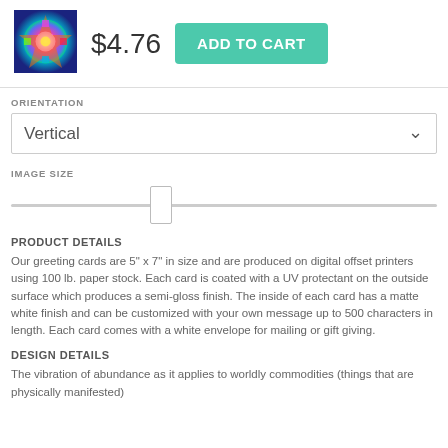[Figure (photo): Colorful mandala/geometric pattern greeting card thumbnail]
$4.76
ADD TO CART
ORIENTATION
Vertical
IMAGE SIZE
PRODUCT DETAILS
Our greeting cards are 5" x 7" in size and are produced on digital offset printers using 100 lb. paper stock. Each card is coated with a UV protectant on the outside surface which produces a semi-gloss finish. The inside of each card has a matte white finish and can be customized with your own message up to 500 characters in length. Each card comes with a white envelope for mailing or gift giving.
DESIGN DETAILS
The vibration of abundance as it applies to worldly commodities (things that are physically manifested)